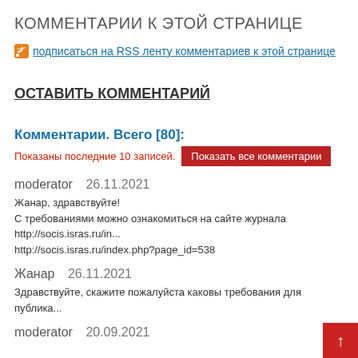КОММЕНТАРИИ К ЭТОЙ СТРАНИЦЕ
подписаться на RSS ленту комментариев к этой странице
ОСТАВИТЬ КОММЕНТАРИЙ
Комментарии. Всего [80]:
Показаны последние 10 записей.   Показать все комментарии
moderator   26.11.2021
Жанар, здравствуйте!
С требованиями можно ознакомиться на сайте журнала http://socis.isras.ru/in...
http://socis.isras.ru/index.php?page_id=538
Жанар   26.11.2021
Здравствуйте, скажите пожалуйста каковы требования для публика...
moderator   20.09.2021